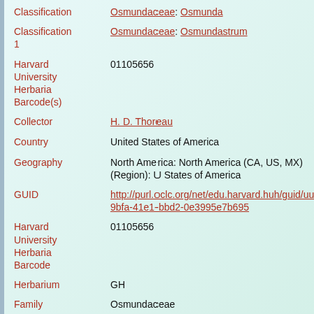Classification: Osmundaceae: Osmunda
Classification 1: Osmundaceae: Osmundastrum
Harvard University Herbaria Barcode(s): 01105656
Collector: H. D. Thoreau
Country: United States of America
Geography: North America: North America (CA, US, MX) (Region): United States of America
GUID: http://purl.oclc.org/net/edu.harvard.huh/guid/uuid/eab9bfa-41e1-bbd2-0e3995e7b695
Harvard University Herbaria Barcode: 01105656
Herbarium: GH
Family: Osmundaceae
Determination: Osmunda cinnamomea Linnaeus
Determination Remarks: [is label name]
Family: Osmundaceae